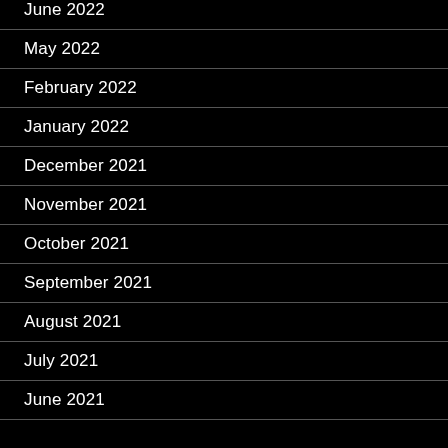June 2022
May 2022
February 2022
January 2022
December 2021
November 2021
October 2021
September 2021
August 2021
July 2021
June 2021